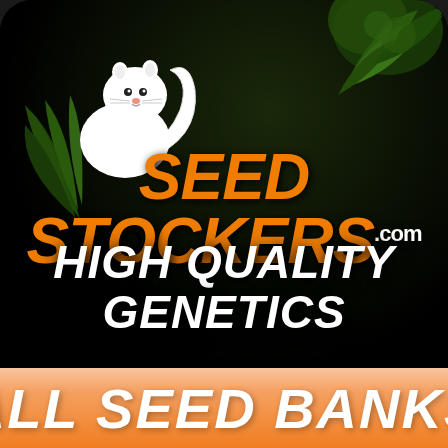[Figure (logo): Seed Stockers logo: white squirrel mascot on black background with cannabis plant imagery, orange bold italic text reading SEED STOCKERS.com, white bold italic text reading HIGH QUALITY GENETICS]
ALL SEED BANKS